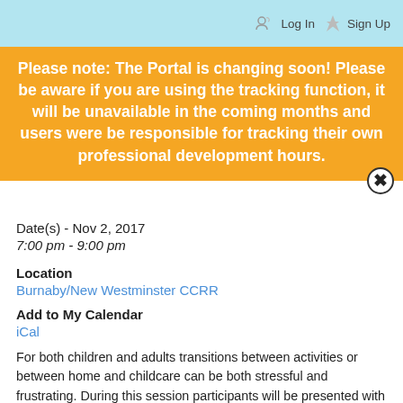Log In   Sign Up
Please note: The Portal is changing soon! Please be aware if you are using the tracking function, it will be unavailable in the coming months and users were be responsible for tracking their own professional development hours.
Date(s) - Nov 2, 2017
7:00 pm - 9:00 pm
Location
Burnaby/New Westminster CCRR
Add to My Calendar
iCal
For both children and adults transitions between activities or between home and childcare can be both stressful and frustrating.  During this session participants will be presented with strategies to use before, during, and after both types of transitions to